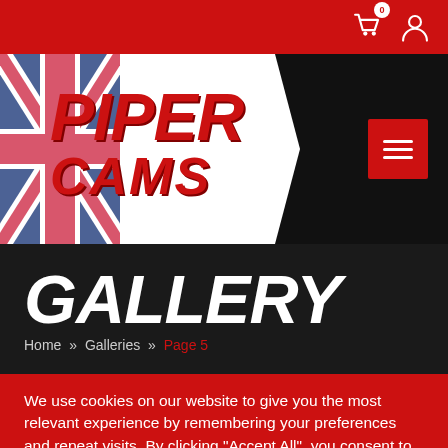[Figure (screenshot): Piper Cams website screenshot showing header with logo, gallery page title with breadcrumb, and cookie consent banner]
GALLERY
Home » Galleries » Page 5
We use cookies on our website to give you the most relevant experience by remembering your preferences and repeat visits. By clicking "Accept All", you consent to the use of ALL the cookies. However, you may visit "Cookie Settings" to provide a controlled consent.